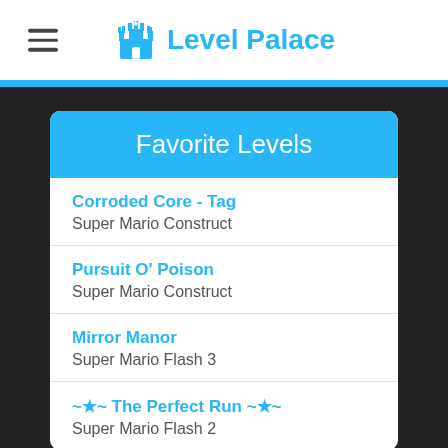Level Palace
Favorite Levels
Corroded Core - Tag
Super Mario Construct
Pursuit O' Poison
Super Mario Construct
Mirror Manor
Super Mario Flash 3
~★~ The Perfect Run ~★~
Super Mario Flash 2